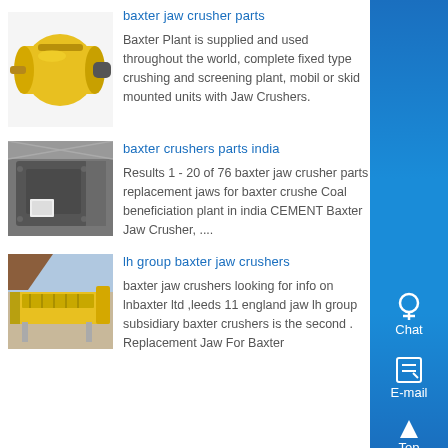[Figure (photo): Yellow cylindrical ball mill machine photo]
baxter jaw crusher parts
Baxter Plant is supplied and used throughout the world, complete fixed type crushing and screening plant, mobil or skid mounted units with Jaw Crushers.
[Figure (photo): Industrial crusher machinery inside a factory warehouse photo]
baxter crushers parts india
Results 1 - 20 of 76 baxter jaw crusher parts replacement jaws for baxter crushe Coal beneficiation plant in india CEMENT Baxter Jaw Crusher, ....
[Figure (photo): Yellow industrial vibrating feeder or screen equipment photo]
lh group baxter jaw crushers
baxter jaw crushers looking for info on lnbaxter ltd ,leeds 11 england jaw lh group subsidiary baxter crushers is the second . Replacement Jaw For Baxter